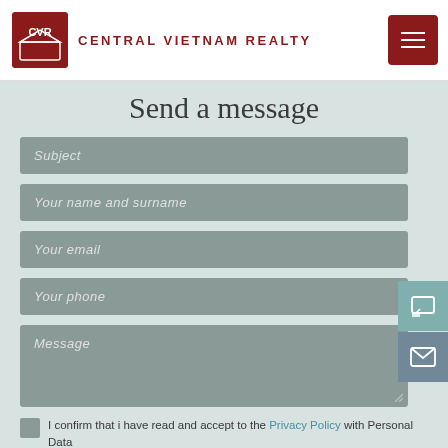CENTRAL VIETNAM REALTY
Send a message
Subject
Your name and surname
Your email
Your phone
Message
I confirm that i have read and accept to the Privacy Policy with Personal Data